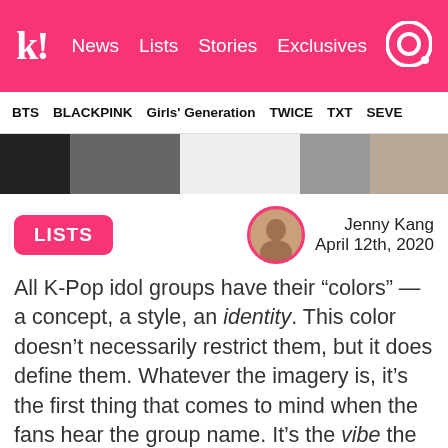k! News Lists Stories Exclusives
BTS  BLACKPINK  Girls' Generation  TWICE  TXT  SEVE
[Figure (photo): Hero banner image showing K-Pop group members standing together]
LISTS
Jenny Kang
April 12th, 2020
All K-Pop idol groups have their “colors” — a concept, a style, an identity. This color doesn’t necessarily restrict them, but it does define them. Whatever the imagery is, it’s the first thing that comes to mind when the fans hear the group name. It’s the vibe the fans get when listening to the group’s songs. In a way, a group’s color could be seen as what they know